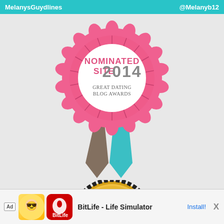MelanysGuydlines   @Melanyb12
[Figure (illustration): Pink rosette award ribbon badge with white center circle. Text on badge reads 'NOMINATED SITE 2014 Great Dating Blog Awards'. Two ribbons hang below: one dark gray/taupe and one teal/aqua, each with a notched bottom.]
[Figure (illustration): Gold coin/seal badge partially visible at bottom, with black serrated edge and text 'BEST SEX, DATING' visible.]
Ad   BitLife - Life Simulator   Install!